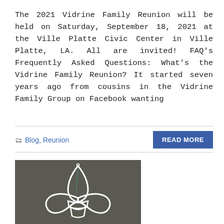The 2021 Vidrine Family Reunion will be held on Saturday, September 18, 2021 at the Ville Platte Civic Center in Ville Platte, LA. All are invited! FAQ's Frequently Asked Questions: What's the Vidrine Family Reunion? It started seven years ago from cousins in the Vidrine Family Group on Facebook wanting
Blog, Reunion
[Figure (illustration): Fleur-de-lis symbol in white outline on a dark olive/grey background]